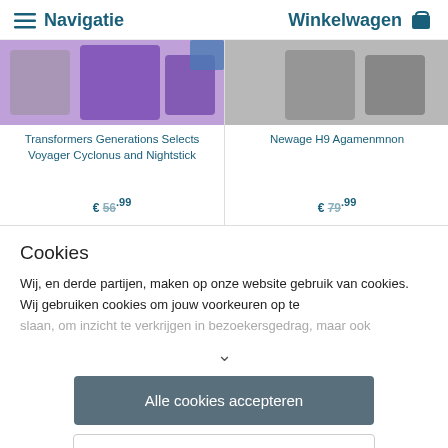≡ Navigatie    Winkelwagen 🛒
[Figure (photo): Product image for Transformers Generations Selects Voyager Cyclonus and Nightstick - purple toy figure]
Transformers Generations Selects Voyager Cyclonus and Nightstick
€ 56.99
[Figure (photo): Product image for Newage H9 Agamenmnon - dark colored toy figure]
Newage H9 Agamenmnon
€ 79.99
Cookies
Wij, en derde partijen, maken op onze website gebruik van cookies. Wij gebruiken cookies om jouw voorkeuren op te slaan, om inzicht te verkrijgen in bezoekersgedrag, maar ook